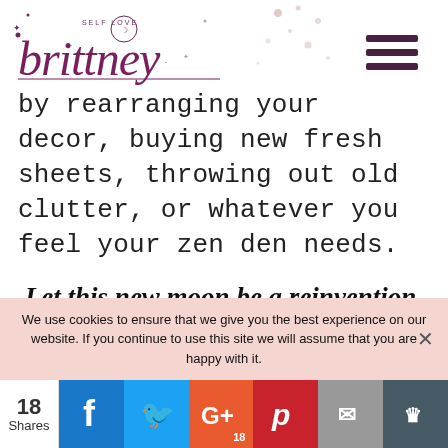[Figure (logo): Brittney self love branding script logo with decorative stars and moon]
by rearranging your decor, buying new fresh sheets, throwing out old clutter, or whatever you feel your zen den needs.
Let this new moon be a reinvention. Let's turn this revelation into a revolution of
We use cookies to ensure that we give you the best experience on our website. If you continue to use this site we will assume that you are happy with it.
18 Shares